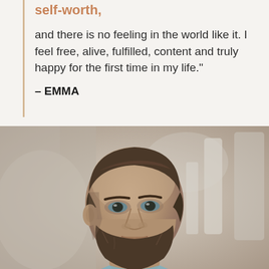self-worth,
and there is no feeling in the world like it. I feel free, alive, fulfilled, content and truly happy for the first time in my life."
– EMMA
[Figure (photo): A man with short brown hair and a beard looking upward and to the right, photographed in a blurred indoor environment with warm and cool light tones in the background.]